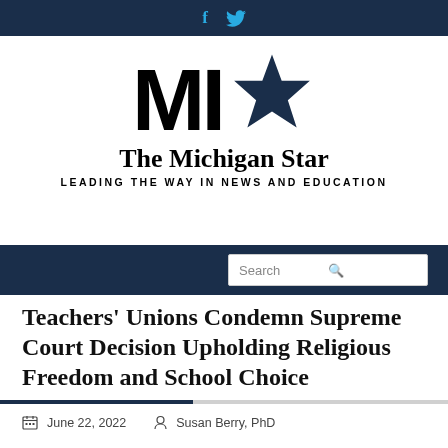f  twitter social icons
[Figure (logo): The Michigan Star logo — bold 'MI' letters with a dark navy star, and tagline 'LEADING THE WAY IN NEWS AND EDUCATION']
Search
Teachers' Unions Condemn Supreme Court Decision Upholding Religious Freedom and School Choice
June 22, 2022   Susan Berry, PhD